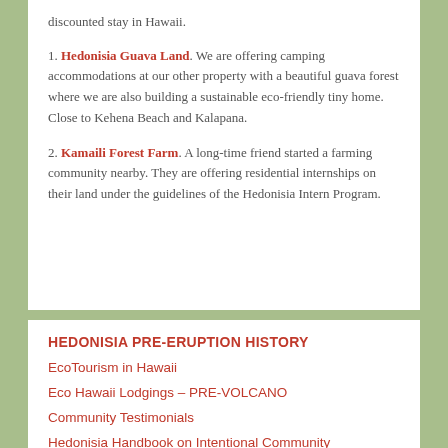discounted stay in Hawaii.
1. Hedonisia Guava Land. We are offering camping accommodations at our other property with a beautiful guava forest where we are also building a sustainable eco-friendly tiny home. Close to Kehena Beach and Kalapana.
2. Kamaili Forest Farm. A long-time friend started a farming community nearby. They are offering residential internships on their land under the guidelines of the Hedonisia Intern Program.
HEDONISIA PRE-ERUPTION HISTORY
EcoTourism in Hawaii
Eco Hawaii Lodgings – PRE-VOLCANO
Community Testimonials
Hedonisia Handbook on Intentional Community Management